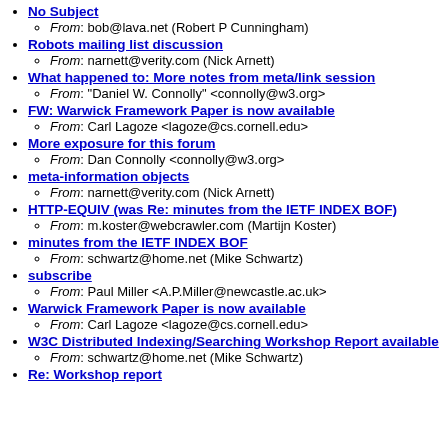No Subject
  From: bob@lava.net (Robert P Cunningham)
Robots mailing list discussion
  From: narnett@verity.com (Nick Arnett)
What happened to: More notes from meta/link session
  From: "Daniel W. Connolly" <connolly@w3.org>
FW: Warwick Framework Paper is now available
  From: Carl Lagoze <lagoze@cs.cornell.edu>
More exposure for this forum
  From: Dan Connolly <connolly@w3.org>
meta-information objects
  From: narnett@verity.com (Nick Arnett)
HTTP-EQUIV (was Re: minutes from the IETF INDEX BOF)
  From: m.koster@webcrawler.com (Martijn Koster)
minutes from the IETF INDEX BOF
  From: schwartz@home.net (Mike Schwartz)
subscribe
  From: Paul Miller <A.P.Miller@newcastle.ac.uk>
Warwick Framework Paper is now available
  From: Carl Lagoze <lagoze@cs.cornell.edu>
W3C Distributed Indexing/Searching Workshop Report available
  From: schwartz@home.net (Mike Schwartz)
Re: Workshop report